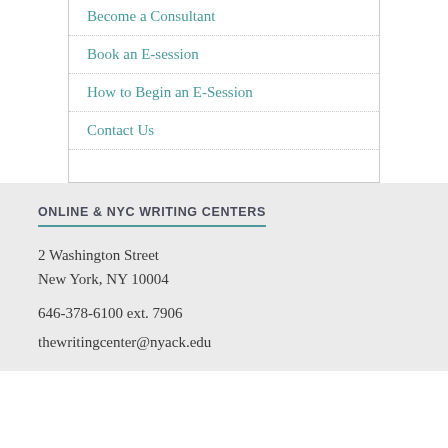Become a Consultant
Book an E-session
How to Begin an E-Session
Contact Us
ONLINE & NYC WRITING CENTERS
2 Washington Street
New York, NY 10004
646-378-6100 ext. 7906
thewritingcenter@nyack.edu